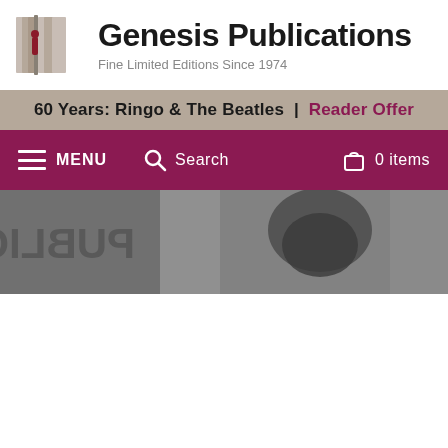[Figure (logo): Genesis Publications logo — stylized open book with vertical pages in beige/grey tones with a small red figure]
Genesis Publications
Fine Limited Editions Since 1974
60 Years: Ringo & The Beatles  |  Reader Offer
MENU   Search   0 items
[Figure (photo): Black and white photograph showing a person near a wall with text PUBLIC partially visible, cropped header hero image]